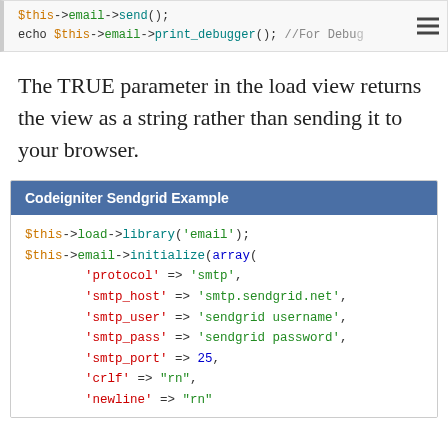[Figure (screenshot): Code snippet showing PHP: $this->email->send(); echo $this->email->print_debugger(); //For Debug]
The TRUE parameter in the load view returns the view as a string rather than sending it to your browser.
[Figure (screenshot): Code box titled 'Codeigniter Sendgrid Example' showing PHP code: $this->load->library('email'); $this->email->initialize(array( 'protocol' => 'smtp', 'smtp_host' => 'smtp.sendgrid.net', 'smtp_user' => 'sendgrid username', 'smtp_pass' => 'sendgrid password', 'smtp_port' => 25, 'crlf' => "rn", 'newline' => "rn"]